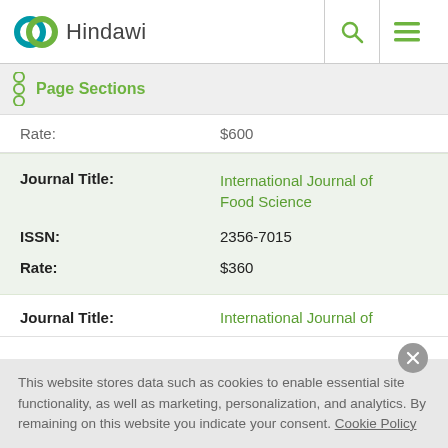Hindawi
Page Sections
| Field | Value |
| --- | --- |
| Rate: | $600 |
| Journal Title: | International Journal of Food Science |
| ISSN: | 2356-7015 |
| Rate: | $360 |
| Journal Title: | International Journal of |
This website stores data such as cookies to enable essential site functionality, as well as marketing, personalization, and analytics. By remaining on this website you indicate your consent. Cookie Policy